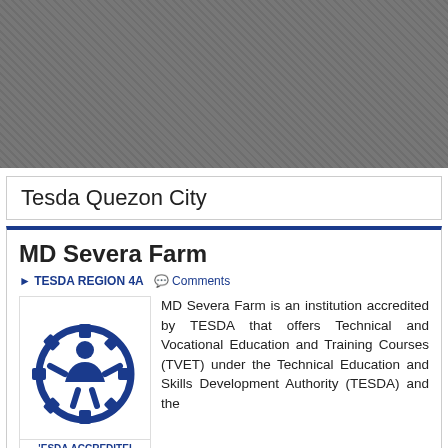[Figure (photo): Grey banner/header image area with textured background]
Tesda Quezon City
MD Severa Farm
TESDA REGION 4A   Comments
[Figure (logo): TESDA Accredited logo — blue gear and figure emblem with text 'TESDA ACCREDITED' below]
MD Severa Farm is an institution accredited by TESDA that offers Technical and Vocational Education and Training Courses (TVET) under the Technical Education and Skills Development Authority (TESDA) and the